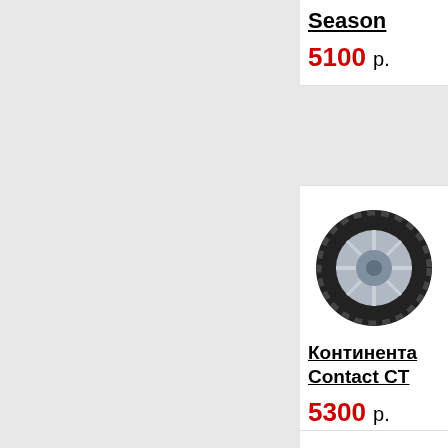Season
5100 р.
[Figure (photo): Continental tire on white rim, seen from front angle]
Континента Contact CT
5300 р.
[Figure (photo): Partial view of another tire at bottom of page]